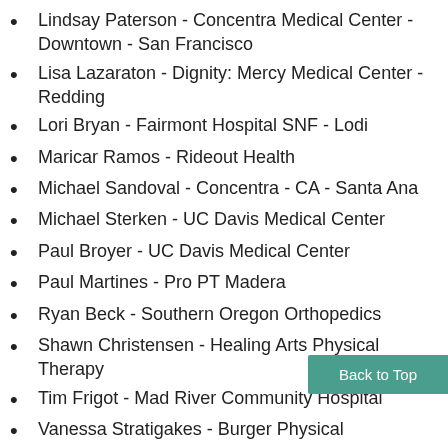Lindsay Paterson - Concentra Medical Center - Downtown - San Francisco
Lisa Lazaraton - Dignity: Mercy Medical Center - Redding
Lori Bryan - Fairmont Hospital SNF - Lodi
Maricar Ramos - Rideout Health
Michael Sandoval - Concentra - CA - Santa Ana
Michael Sterken - UC Davis Medical Center
Paul Broyer - UC Davis Medical Center
Paul Martines - Pro PT Madera
Ryan Beck - Southern Oregon Orthopedics
Shawn Christensen - Healing Arts Physical Therapy
Tim Frigot - Mad River Community Hospital
Vanessa Stratigakes - Burger Physical Therapy